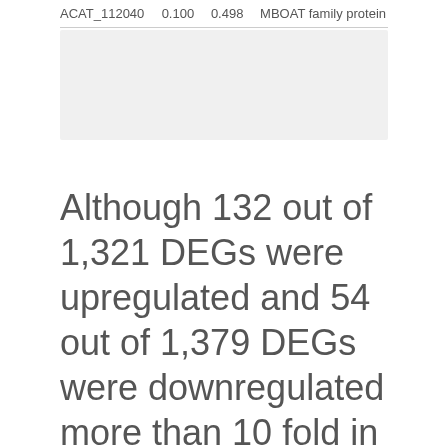| ACAT_112040 | 0.100 | 0.498 | MBOAT family protein |
Although 132 out of 1,321 DEGs were upregulated and 54 out of 1,379 DEGs were downregulated more than 10 fold in A. castellanii 24 hr pi, approximately 60% of these DEGs (78 DEGs and 30 DEGs) were identified as hypothetical proteins. Strong